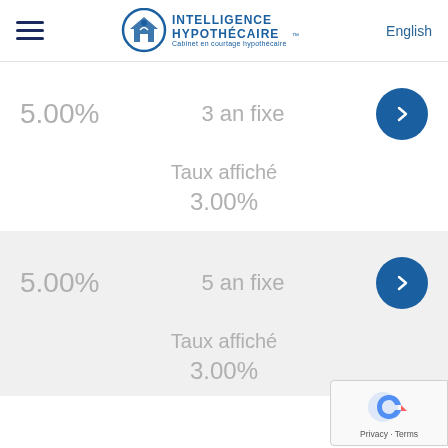Intelligence Hypothécaire — Cabinet en courtage hypothécaire | English
5.00%    3 an fixe
Taux affiché
3.00%
5.00%    5 an fixe
Taux affiché
3.00%